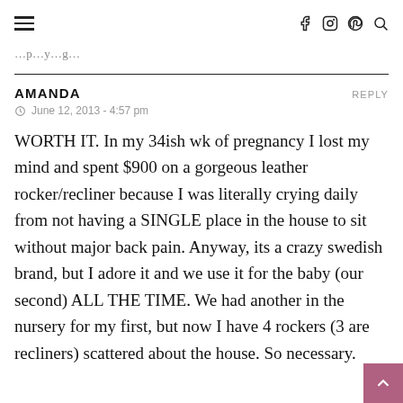≡  f  Instagram  Pinterest  Search
…p…y…g…
AMANDA  REPLY
© June 12, 2013 - 4:57 pm

WORTH IT. In my 34ish wk of pregnancy I lost my mind and spent $900 on a gorgeous leather rocker/recliner because I was literally crying daily from not having a SINGLE place in the house to sit without major back pain. Anyway, its a crazy swedish brand, but I adore it and we use it for the baby (our second) ALL THE TIME. We had another in the nursery for my first, but now I have 4 rockers (3 are recliners) scattered about the house. So necessary.